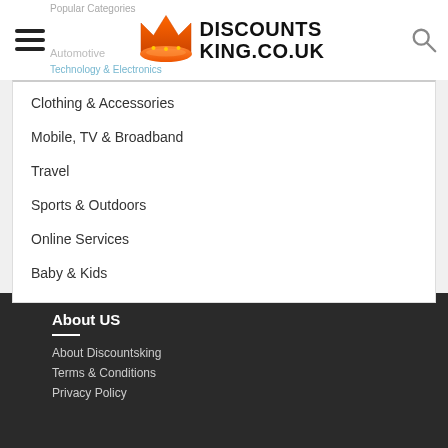[Figure (logo): Discounts King crown logo with orange crown SVG and bold black text DISCOUNTS KING.CO.UK]
Clothing & Accessories
Mobile, TV & Broadband
Travel
Sports & Outdoors
Online Services
Baby & Kids
About US
About Discountsking
Terms & Conditions
Privacy Policy